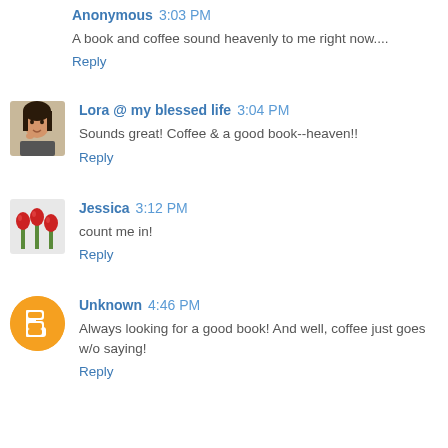Anonymous 3:03 PM
A book and coffee sound heavenly to me right now....
Reply
[Figure (photo): Avatar photo of Lora - woman with dark hair]
Lora @ my blessed life 3:04 PM
Sounds great! Coffee & a good book--heaven!!
Reply
[Figure (photo): Avatar photo of Jessica - red tulips]
Jessica 3:12 PM
count me in!
Reply
[Figure (logo): Unknown user avatar - orange circle with B blogger icon]
Unknown 4:46 PM
Always looking for a good book! And well, coffee just goes w/o saying!
Reply